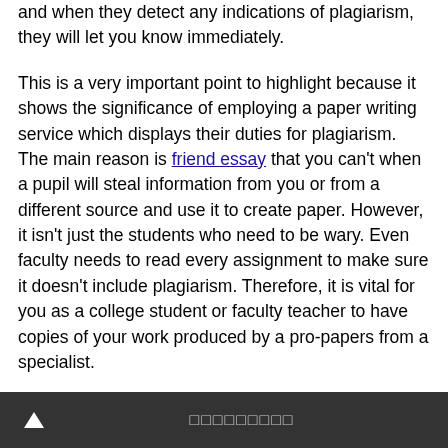and when they detect any indications of plagiarism, they will let you know immediately.
This is a very important point to highlight because it shows the significance of employing a paper writing service which displays their duties for plagiarism. The main reason is friend essay that you can't when a pupil will steal information from you or from a different source and use it to create paper. However, it isn't just the students who need to be wary. Even faculty needs to read every assignment to make sure it doesn't include plagiarism. Therefore, it is vital for you as a college student or faculty teacher to have copies of your work produced by a pro-papers from a specialist.
Professional paper writing services are excellent since they can offer many more benefits for your requirements. These are some of the things that they can assist with: helping
🔺 □□□□□□□□□